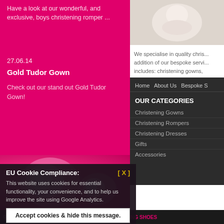Have a look at our wonderful, and exclusive, boys christening romper ...
27.06.14
Gold Tudor Gown
Check out our stand out Gold Tudor Gown!
[Figure (photo): Baby photo on light fluffy background]
We specialise in quality chris... addition of our bespoke servi... includes: christening gowns,
[Figure (photo): Pink decorative swirl design on magenta background]
Home  About Us  Bespoke S...
OUR CATEGORIES
Christening Gowns
Christening Rompers
Christening Dresses
Gifts
Accessories
EU Cookie Compliance:
This website uses cookies for essential functionality, your convenience, and to help us improve the site using Google Analytics.
Accept cookies & hide this message.
Find out more about cookies
© 2022 Sunday Best • © 2022 Freetim...
BABY CHRISTENING SHOES